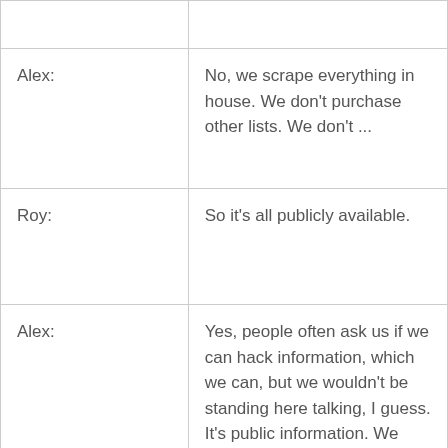|  |  |
| Alex: | No, we scrape everything in house. We don't purchase other lists. We don't ... |
| Roy: | So it's all publicly available. |
| Alex: | Yes, people often ask us if we can hack information, which we can, but we wouldn't be standing here talking, I guess. It's public information. We scrape North America, Western Europe, and New Zealand and Australia. In the future we're going to make in-roads into China and... |